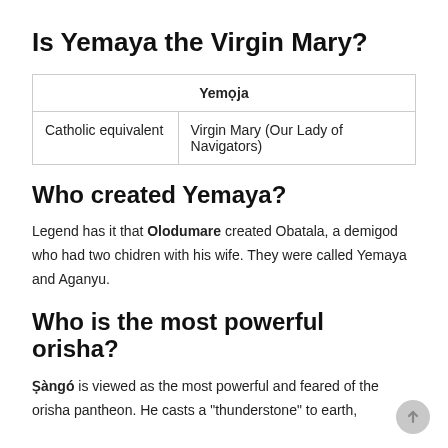Is Yemaya the Virgin Mary?
| Yemoja |
| --- |
| Catholic equivalent | Virgin Mary (Our Lady of Navigators) |
Who created Yemaya?
Legend has it that Olodumare created Obatala, a demigod who had two chidren with his wife. They were called Yemaya and Aganyu.
Who is the most powerful orisha?
Ṣàngó is viewed as the most powerful and feared of the orisha pantheon. He casts a “thunderstonе” to earth,